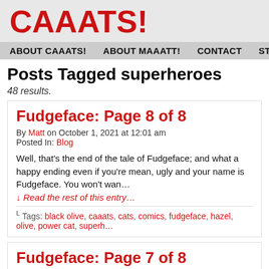CAAATS!
ABOUT CAAATS!   ABOUT MAAATT!   CONTACT   STRIPS
Posts Tagged superheroes
48 results.
Fudgeface: Page 8 of 8
By Matt on October 1, 2021 at 12:01 am
Posted In: Blog
Well, that's the end of the tale of Fudgeface; and what a happy ending even if you're mean, ugly and your name is Fudgeface. You won't wan...
↓ Read the rest of this entry…
⌐ Tags: black olive, caaats, cats, comics, fudgeface, hazel, olive, power cat, superh…
Fudgeface: Page 7 of 8
By Matt on September 24, 2021 at 12:01 am
Posted In: Blog